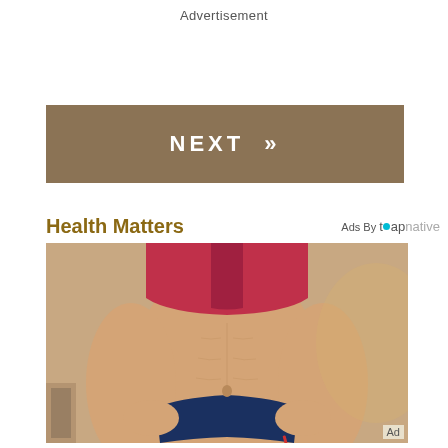Advertisement
NEXT »
Health Matters
Ads By tapnative
[Figure (photo): Fitness photo of a woman's toned midriff wearing a red sports bra and navy bikini bottoms, hands on hips]